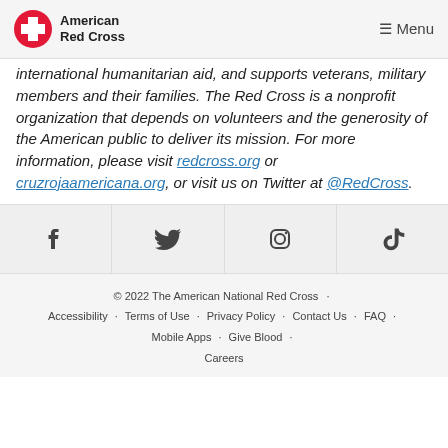American Red Cross · Menu
international humanitarian aid, and supports veterans, military members and their families. The Red Cross is a nonprofit organization that depends on volunteers and the generosity of the American public to deliver its mission. For more information, please visit redcross.org or cruzrojaamericana.org, or visit us on Twitter at @RedCross.
[Figure (other): Social media icons row: Facebook, Twitter, Instagram, TikTok]
© 2022 The American National Red Cross · Accessibility · Terms of Use · Privacy Policy · Contact Us · FAQ · Mobile Apps · Give Blood · Careers